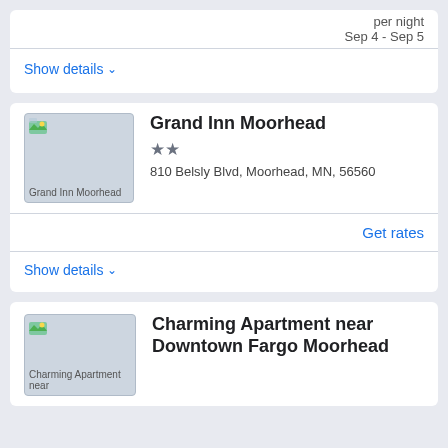per night
Sep 4 - Sep 5
Show details
Grand Inn Moorhead
★★
810 Belsly Blvd, Moorhead, MN, 56560
Get rates
Show details
Charming Apartment near Downtown Fargo Moorhead